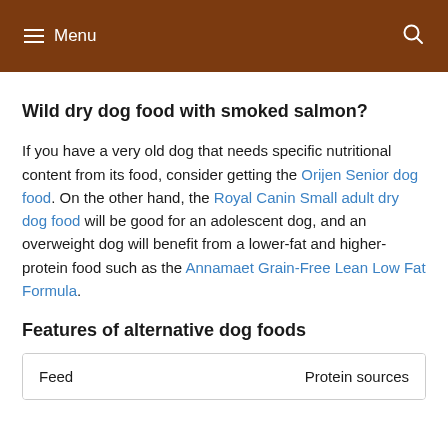≡ Menu
Wild dry dog food with smoked salmon?
If you have a very old dog that needs specific nutritional content from its food, consider getting the Orijen Senior dog food. On the other hand, the Royal Canin Small adult dry dog food will be good for an adolescent dog, and an overweight dog will benefit from a lower-fat and higher-protein food such as the Annamaet Grain-Free Lean Low Fat Formula.
Features of alternative dog foods
| Feed | Protein sources |
| --- | --- |